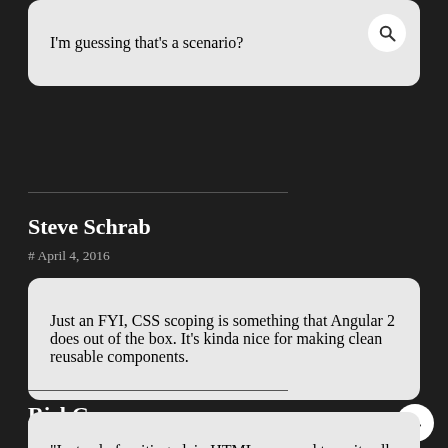I'm guessing that's a scenario?
Steve Schrab
# April 4, 2016
Just an FYI, CSS scoping is something that Angular 2 does out of the box. It's kinda nice for making clean reusable components.
RickG
# April 4, 2016
“Instead of writing plain HTML, we need to write all of our